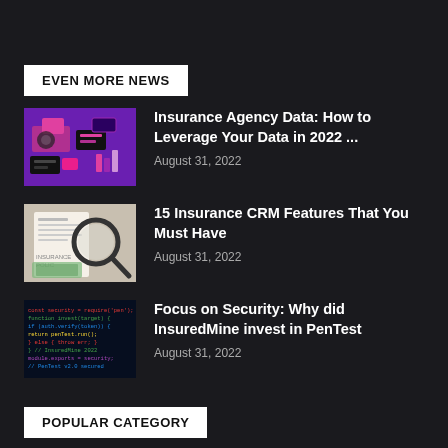EVEN MORE NEWS
[Figure (illustration): Abstract digital/data illustration with purple background, pink and black geometric shapes, charts and UI elements]
Insurance Agency Data: How to Leverage Your Data in 2022 ...
August 31, 2022
[Figure (photo): Insurance policy document with a magnifying glass on top, white background]
15 Insurance CRM Features That You Must Have
August 31, 2022
[Figure (photo): Dark screen with colorful programming code lines]
Focus on Security: Why did InsuredMine invest in PenTest
August 31, 2022
POPULAR CATEGORY